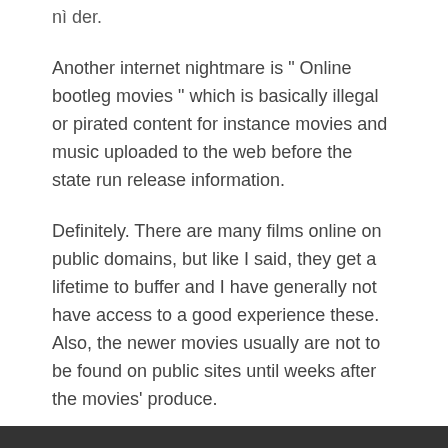nì der.
Another internet nightmare is " Online bootleg movies " which is basically illegal or pirated content for instance movies and music uploaded to the web before the state run release information.
Definitely. There are many films online on public domains, but like I said, they get a lifetime to buffer and I have generally not have access to a good experience these. Also, the newer movies usually are not to be found on public sites until weeks after the movies' produce.
Filed Under: Uncategorized